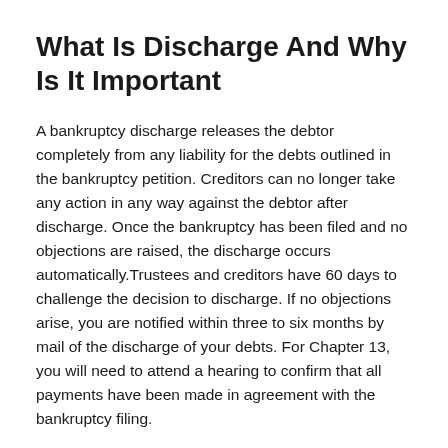What Is Discharge And Why Is It Important
A bankruptcy discharge releases the debtor completely from any liability for the debts outlined in the bankruptcy petition. Creditors can no longer take any action in any way against the debtor after discharge. Once the bankruptcy has been filed and no objections are raised, the discharge occurs automatically.Trustees and creditors have 60 days to challenge the decision to discharge. If no objections arise, you are notified within three to six months by mail of the discharge of your debts. For Chapter 13, you will need to attend a hearing to confirm that all payments have been made in agreement with the bankruptcy filing.